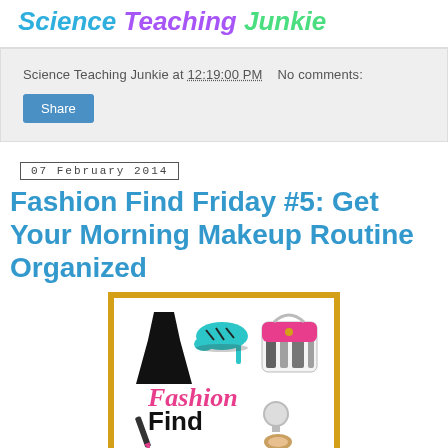[Figure (logo): Science Teaching Junkie blog logo in script/italic text with teal, purple, and green colors]
Science Teaching Junkie at 12:19:00 PM    No comments:
Share
07 February 2014
Fashion Find Friday #5: Get Your Morning Makeup Routine Organized
[Figure (illustration): Fashion Find Friday graphic with gold glitter border, featuring a black dress, teal high heel shoe, zebra-print handbag with pink accent, and Fashion Find Friday text in pink/black on teal tile background]